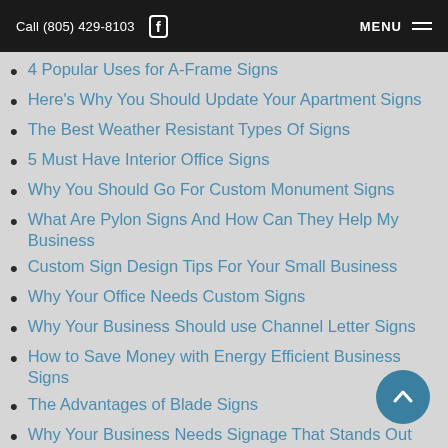Call (805) 429-8103  MENU
4 Popular Uses for A-Frame Signs
Here's Why You Should Update Your Apartment Signs
The Best Weather Resistant Types Of Signs
5 Must Have Interior Office Signs
Why You Should Go For Custom Monument Signs
What Are Pylon Signs And How Can They Help My Business
Custom Sign Design Tips For Your Small Business
Why Your Office Needs Custom Signs
Why Your Business Should use Channel Letter Signs
How to Save Money with Energy Efficient Business Signs
The Advantages of Blade Signs
Why Your Business Needs Signage That Stands Out
Sign Conversions – Modernizing and Updating Old